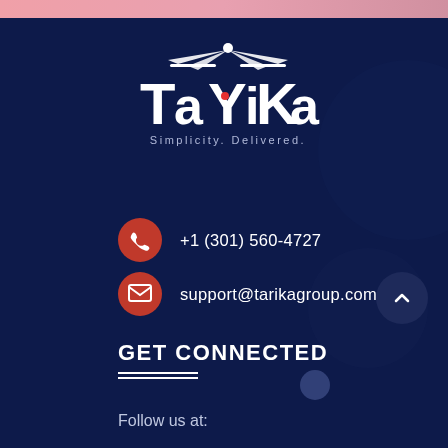[Figure (logo): TaYiKa logo — white text on dark navy background with wing and figure icon above text, tagline 'Simplicity. Delivered.' below]
+1 (301) 560-4727
support@tarikagroup.com
GET CONNECTED
Follow us at: